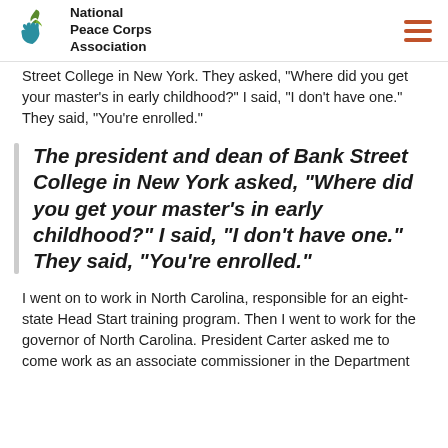National Peace Corps Association
Street College in New York. They asked, “Where did you get your master’s in early childhood?” I said, “I don’t have one.” They said, “You’re enrolled.”
The president and dean of Bank Street College in New York asked, “Where did you get your master’s in early childhood?” I said, “I don’t have one.” They said, “You’re enrolled.”
I went on to work in North Carolina, responsible for an eight-state Head Start training program. Then I went to work for the governor of North Carolina. President Carter asked me to come work as an associate commissioner in the Department